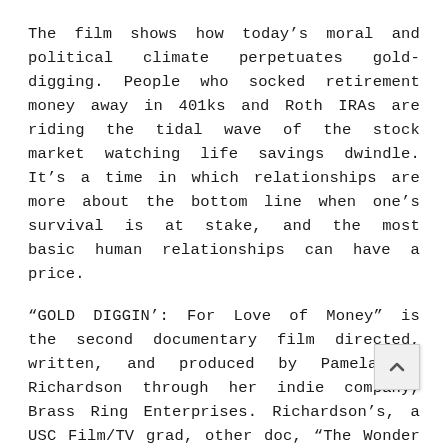The film shows how today’s moral and political climate perpetuates gold-digging. People who socked retirement money away in 401ks and Roth IRAs are riding the tidal wave of the stock market watching life savings dwindle. It’s a time in which relationships are more about the bottom line when one’s survival is at stake, and the most basic human relationships can have a price.
“GOLD DIGGIN’: For Love of Money” is the second documentary film directed, written, and produced by Pamela J. Richardson through her indie company, Brass Ring Enterprises. Richardson’s, a USC Film/TV grad, other doc, “The Wonder Kids”, (produced, directed, and written with Jim Petersen) features Dick Van Dyke, Savion Glover and Debbie Allen. The film won the best documentary in the New York Int’l Indie Film Fest (L.A. Version) in July 2008. She also co-directed, co-wrote, and produced “Te… nd Blood” (2015) with director Al Franklin, as well as directed and produced music and promotional videos and